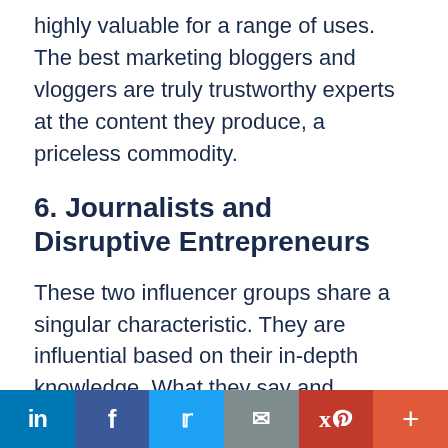highly valuable for a range of uses. The best marketing bloggers and vloggers are truly trustworthy experts at the content they produce, a priceless commodity.
6. Journalists and Disruptive Entrepreneurs
These two influencer groups share a singular characteristic. They are influential based on their in-depth knowledge. What they say and produce goes beyond the surface.
Both groups appear on social media, so their influence stretches beyond traditional media.
Social share bar: LinkedIn, Facebook, Twitter, Email, Pinterest, More